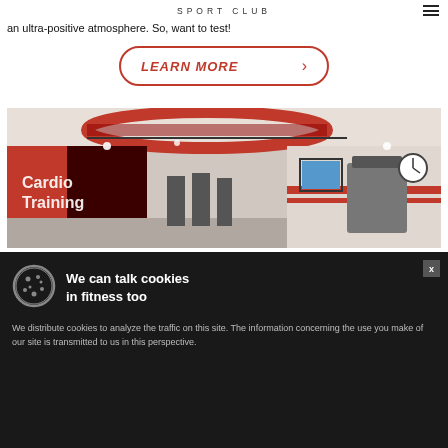SPORT CLUB
an ultra-positive atmosphere. So, want to test!
LEARN MORE
[Figure (photo): Interior of a gym/fitness center with cardio training equipment, red and white decor, circular ceiling feature, treadmills, exercise bikes, and a wall sign reading 'Cardio Training']
We can talk cookies in fitness too
We distribute cookies to analyze the traffic on this site. The information concerning the use you make of our site is transmitted to us in this perspective.